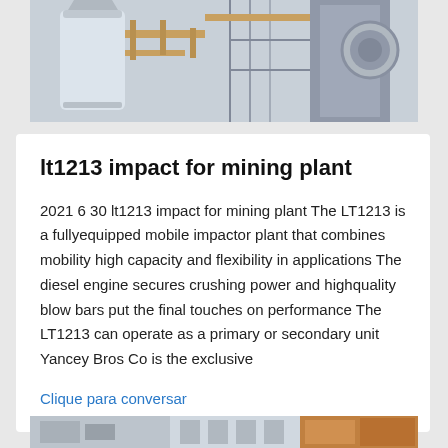[Figure (photo): Industrial mining machinery / impact plant equipment — white cylindrical vessel and piping visible against structure]
lt1213 impact for mining plant
2021 6 30 lt1213 impact for mining plant The LT1213 is a fullyequipped mobile impactor plant that combines mobility high capacity and flexibility in applications The diesel engine secures crushing power and highquality blow bars put the final touches on performance The LT1213 can operate as a primary or secondary unit Yancey Bros Co is the exclusive
Clique para conversar
[Figure (photo): Mining plant equipment at bottom of page — industrial machinery including orange-colored component visible]